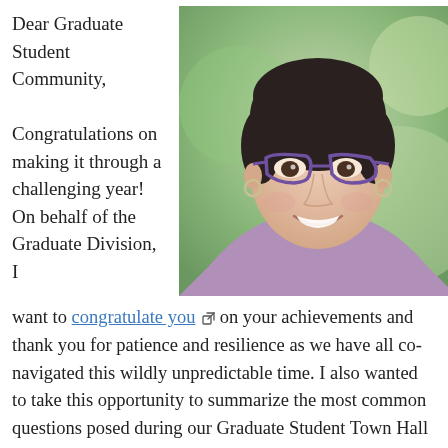Dear Graduate Student Community,
[Figure (photo): Portrait photo of a smiling woman with short dark hair, purple cat-eye glasses, hoop earrings, and a lavender/purple wrap top, with green blurred foliage in the background.]
Congratulations on making it through a challenging year! On behalf of the Graduate Division, I want to congratulate you on your achievements and thank you for patience and resilience as we have all co-navigated this wildly unpredictable time. I also wanted to take this opportunity to summarize the most common questions posed during our Graduate Student Town Hall